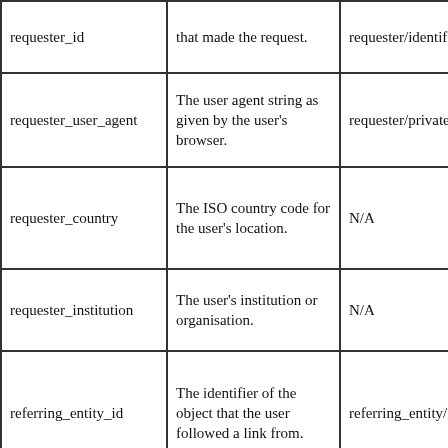| requester_id | that made the request. | requester/identifier |
| requester_user_agent | The user agent string as given by the user's browser. | requester/private-data |
| requester_country | The ISO country code for the user's location. | N/A |
| requester_institution | The user's institution or organisation. | N/A |
| referring_entity_id | The identifier of the object that the user followed a link from. | referring_entity/identifier |
| service_type_id | The type of service requested, either fulltext=yes or … | service-type/* (see info:ofi/fmt:xml:xsd:sch_svc) |